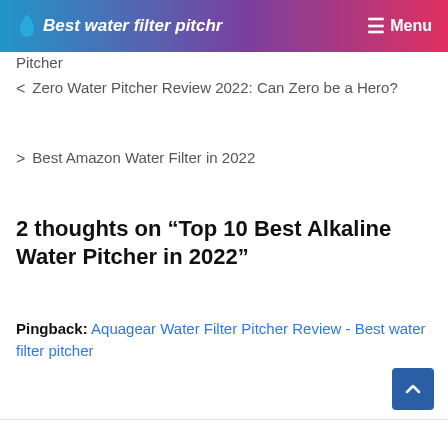Best water filter pitchr | Menu
Pitcher
< Zero Water Pitcher Review 2022: Can Zero be a Hero?
> Best Amazon Water Filter in 2022
2 thoughts on “Top 10 Best Alkaline Water Pitcher in 2022”
Pingback: Aquagear Water Filter Pitcher Review - Best water filter pitcher